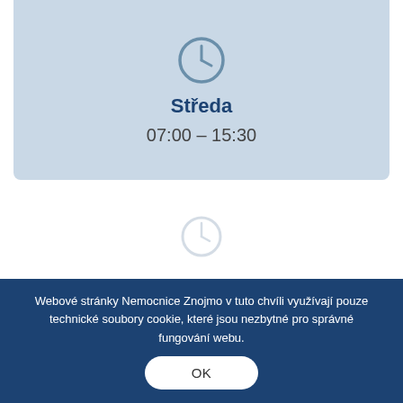[Figure (illustration): Clock icon inside a blue-grey card at the top]
Středa
07:00 – 15:30
[Figure (illustration): Clock icon (lighter/faded) in white section below]
Čtvrtek
Webové stránky Nemocnice Znojmo v tuto chvíli využívají pouze technické soubory cookie, které jsou nezbytné pro správné fungování webu.